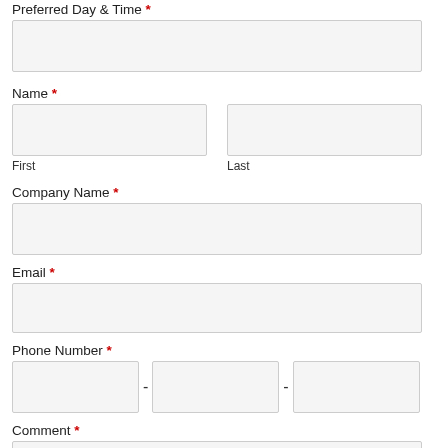Preferred Day & Time *
Name *
First
Last
Company Name *
Email *
Phone Number *
Comment *